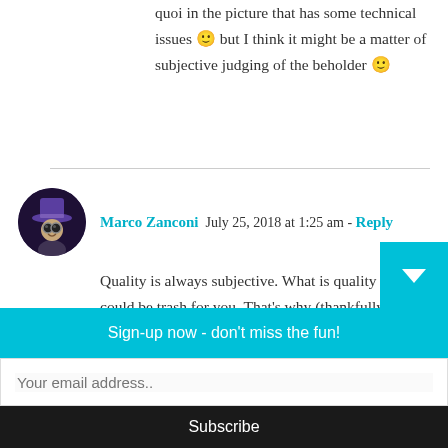...is it possible to find this je-ne-sais-quoi in the picture that has some technical issues 🙂 but I think it might be a matter of subjective judging of the beholder 🙂
Marco Zanconi  July 25, 2018 at 1:25 am - Reply
Quality is always subjective. What is quality for me, could be trash for you. That's why (thankfully) we have so many different styles, so we can keep
Sign-up now - don't miss the fun!
Your email address..
Subscribe